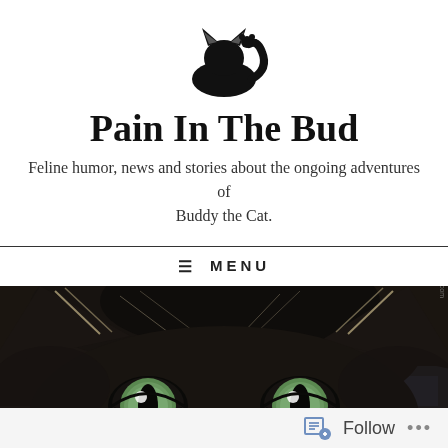[Figure (logo): Black silhouette of a cat curled up with a small mouse/ball, serving as the blog logo]
Pain In The Bud
Feline humor, news and stories about the ongoing adventures of Buddy the Cat.
☰ MENU
[Figure (photo): Close-up photo of a black cat with striking green eyes looking directly at the camera]